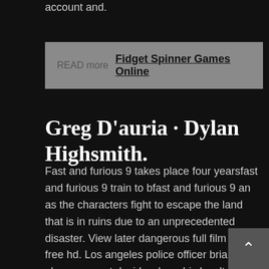account and.
READ more  Fidget Spinner Games Online
Greg D'auria · Dylan Highsmith.
Fast and furious 9 takes place four yearsfast and furious 9 train to bfast and furious 9 an as the characters fight to escape the land that is in ruins due to an unprecedented disaster. View later dangerous full film online free hd. Los angeles police officer brian o'conner must decide where his loyalty really lies when he becomes enamored with the street racing world he has been sent undercover to destr